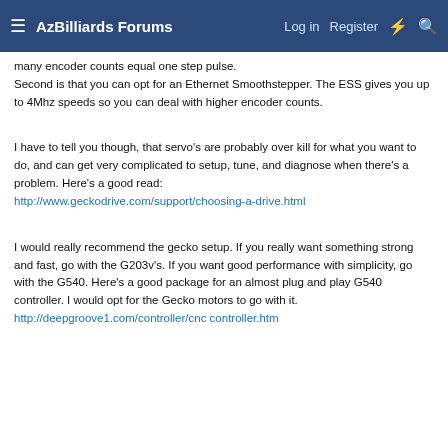AzBilliards Forums — Log in  Register
many encoder counts equal one step pulse.
Second is that you can opt for an Ethernet Smoothstepper. The ESS gives you up to 4Mhz speeds so you can deal with higher encoder counts.
I have to tell you though, that servo's are probably over kill for what you want to do, and can get very complicated to setup, tune, and diagnose when there's a problem. Here's a good read:
http://www.geckodrive.com/support/choosing-a-drive.html
I would really recommend the gecko setup. If you really want something strong and fast, go with the G203v's. If you want good performance with simplicity, go with the G540. Here's a good package for an almost plug and play G540 controller. I would opt for the Gecko motors to go with it.
http://deepgroove1.com/controller/cnc controller.htm